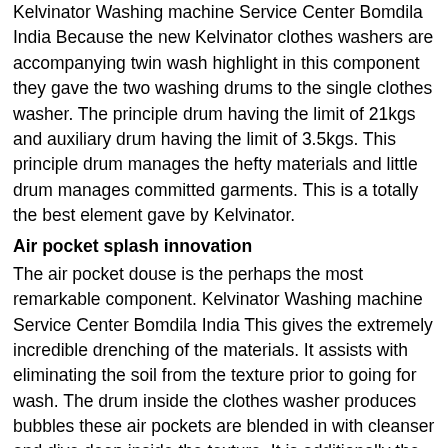Kelvinator Washing machine Service Center Bomdila India Because the new Kelvinator clothes washers are accompanying twin wash highlight in this component they gave the two washing drums to the single clothes washer. The principle drum having the limit of 21kgs and auxiliary drum having the limit of 3.5kgs. This principle drum manages the hefty materials and little drum manages committed garments. This is a totally the best element gave by Kelvinator.
Air pocket splash innovation
The air pocket douse is the perhaps the most remarkable component. Kelvinator Washing machine Service Center Bomdila India This gives the extremely incredible drenching of the materials. It assists with eliminating the soil from the texture prior to going for wash. The drum inside the clothes washer produces bubbles these air pockets are blended in with cleanser and dive deep inside the texture. It is additionally the wellbeing splashing to the materials.
The Kelvinator is the one of the main brand in India. The home apparatuses which gives by the Kelvinator is fridges, clothes washers, microwaves, forced air...